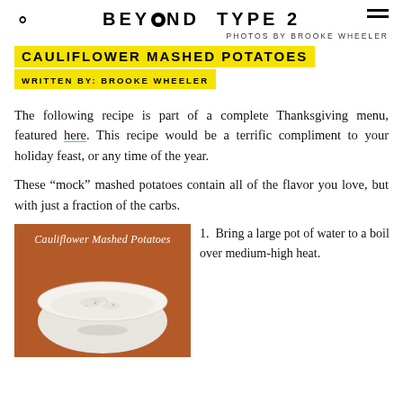BEYOND TYPE 2 | PHOTOS BY BROOKE WHEELER
CAULIFLOWER MASHED POTATOES
WRITTEN BY: BROOKE WHEELER
The following recipe is part of a complete Thanksgiving menu, featured here. This recipe would be a terrific compliment to your holiday feast, or any time of the year.
These “mock” mashed potatoes contain all of the flavor you love, but with just a fraction of the carbs.
[Figure (photo): A bowl of cauliflower mashed potatoes on a wooden surface, with text overlay reading 'Cauliflower Mashed Potatoes']
Bring a large pot of water to a boil over medium-high heat.